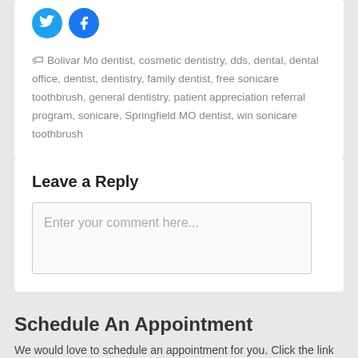[Figure (other): Two social media icon circles: Twitter (blue bird) and Facebook (blue f)]
Bolivar Mo dentist, cosmetic dentistry, dds, dental, dental office, dentist, dentistry, family dentist, free sonicare toothbrush, general dentistry, patient appreciation referral program, sonicare, Springfield MO dentist, win sonicare toothbrush
Leave a Reply
Enter your comment here...
Schedule An Appointment
We would love to schedule an appointment for you. Click the link below and fill out a small form. After that we will finish getting your